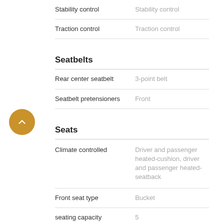| Feature | Value |
| --- | --- |
| Stability control | Stability control |
| Traction control | Traction control |
Seatbelts
| Feature | Value |
| --- | --- |
| Rear center seatbelt | 3-point belt |
| Seatbelt pretensioners | Front |
Seats
| Feature | Value |
| --- | --- |
| Climate controlled | Driver and passenger heated-cushion, driver and passenger heated-seatback |
| Front seat type | Bucket |
| seating capacity | 5 |
| Total Seating Capacity | 5 |
| Upholstery | Leather |
Security